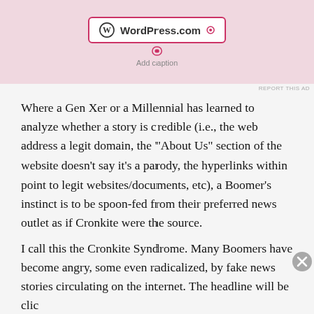[Figure (screenshot): WordPress.com advertisement banner with pink background, showing WordPress.com logo badge with 'Add caption' text below]
Where a Gen Xer or a Millennial has learned to analyze whether a story is credible (i.e., the web address a legit domain, the “About Us” section of the website doesn’t say it’s a parody, the hyperlinks within point to legit websites/documents, etc), a Boomer’s instinct is to be spoon-fed from their preferred news outlet as if Cronkite were the source.
I call this the Cronkite Syndrome. Many Boomers have become angry, some even radicalized, by fake news stories circulating on the internet. The headline will be clic
Advertisements
[Figure (screenshot): DuckDuckGo advertisement: orange background on left with 'Search, browse, and email with more privacy. All in One Free App' text, dark background on right with DuckDuckGo logo]